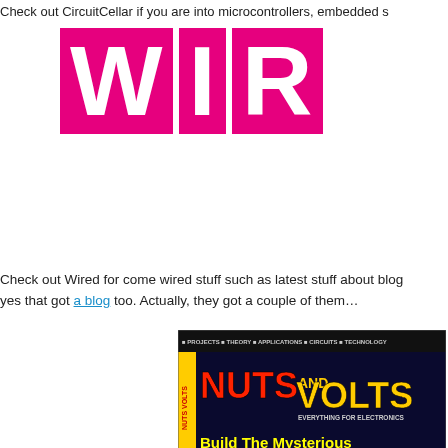Check out CircuitCellar if you are into microcontrollers, embedded s
[Figure (logo): WIRED magazine logo — large bold white letters W, I, R on magenta/pink square backgrounds]
Check out Wired for come wired stuff such as latest stuff about blog yes that got a blog too. Actually, they got a couple of them...
[Figure (photo): Cover of Nuts and Volts magazine featuring 'Build The Mysterious Magic Box' with electronic box device on dark blue background. Text includes: PROJECTS, THEORY, APPLICATIONS, CIRCUITS, TECHNOLOGY, NUTS AND VOLTS, EVERYTHING FOR ELECTRONICS, MIMO 101, Pulse Speed Timer, Understanding IC Circuits, USB For Projects On A Budget]